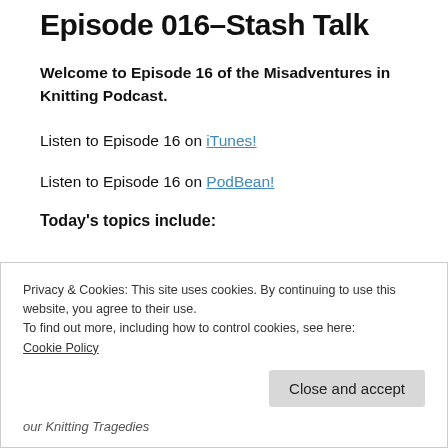Episode 016–Stash Talk
Welcome to Episode 16 of the Misadventures in Knitting Podcast.
Listen to Episode 16 on iTunes!
Listen to Episode 16 on PodBean!
Today's topics include:
Privacy & Cookies: This site uses cookies. By continuing to use this website, you agree to their use.
To find out more, including how to control cookies, see here: Cookie Policy
Close and accept
our Knitting Tragedies